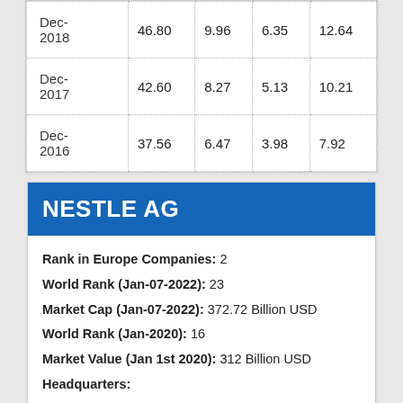| Dec-2018 | 46.80 | 9.96 | 6.35 | 12.64 |
| Dec-2017 | 42.60 | 8.27 | 5.13 | 10.21 |
| Dec-2016 | 37.56 | 6.47 | 3.98 | 7.92 |
NESTLE AG
Rank in Europe Companies: 2
World Rank (Jan-07-2022): 23
Market Cap (Jan-07-2022): 372.72 Billion USD
World Rank (Jan-2020): 16
Market Value (Jan 1st 2020): 312 Billion USD
Headquarters: